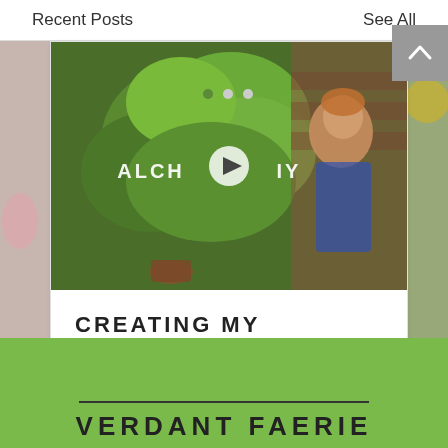Recent Posts    See All
[Figure (photo): Video thumbnail showing a woman holding large green plants in front of a brick background, with overlay text 'ALCHEMY' and a play button in the center. Partially visible card images on left and right sides.]
CREATING MY UNIVERSE
👁 18   💬 0   ♥
• • •
VERDANT FAERIE